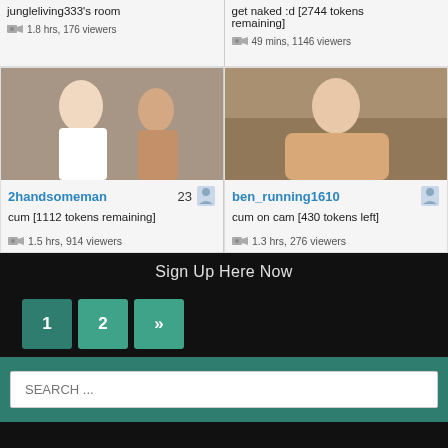[Figure (screenshot): Two partially visible streaming cards at top: jungleliving333's room (1.8 hrs, 176 viewers) and letsplayduke room (get naked :d [2744 tokens remaining], 49 mins, 1146 viewers)]
jungleliving333's room
1.8 hrs, 176 viewers
get naked :d [2744 tokens remaining]
49 mins, 1146 viewers
[Figure (photo): Two men posing for camera - left wearing white shirt smiling, right shirtless]
2handsomeman  23
cum [1112 tokens remaining]
1.5 hrs, 914 viewers
[Figure (photo): Man sitting on couch, shirtless]
ben_running1610  22
cum on cam [430 tokens left]
1.3 hrs, 276 viewers
Sign Up Here Now
1
2
»
SEARCH ...